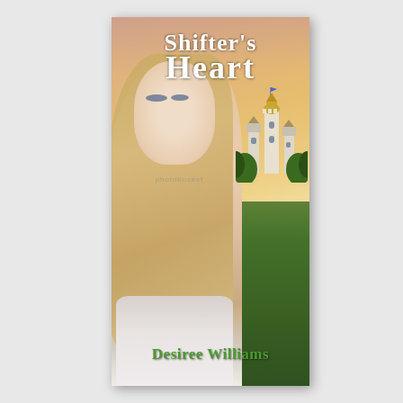[Figure (illustration): Book cover for 'Shifter's Heart' by Desiree Williams. Features a blonde woman in the foreground looking over her shoulder, wearing a white lace dress. Background shows a fairy-tale castle on a hill surrounded by green forest trees, with a dramatic sunset sky of pink, purple and golden clouds. A Photobucket watermark is visible in the center. Title text 'Shifter's Heart' appears at the top in white serif font, and author name 'Desiree Williams' appears at the bottom in green serif font.]